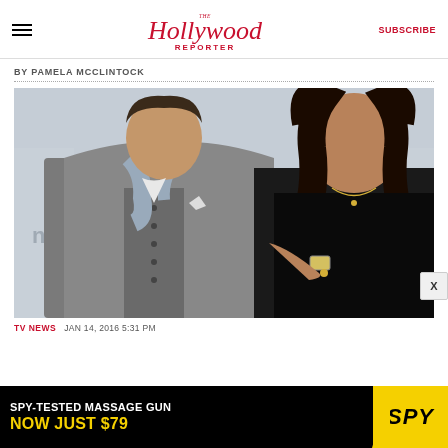The Hollywood Reporter | SUBSCRIBE
BY PAMELA MCCLINTOCK
[Figure (photo): Two people posing together at an event. On the left is a man wearing a grey pinstripe suit with a vest and a patterned scarf/cravat. On the right is a woman with long brown wavy hair wearing a black sequined top. Event backdrop visible behind them with partial text 'berat' and 'nt'.]
TV NEWS  JAN 14, 2016 5:31 PM
[Figure (screenshot): Advertisement banner: SPY-TESTED MASSAGE GUN NOW JUST $79 with SPY logo on yellow background]